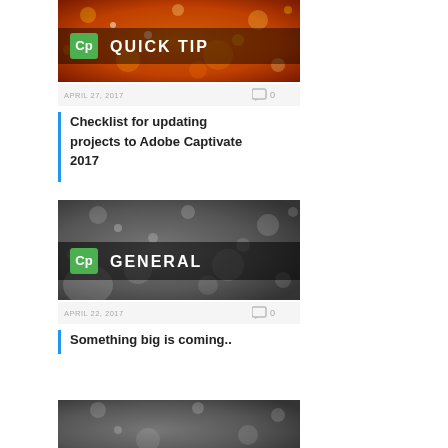[Figure (screenshot): Orange bokeh background with 'Cp' green icon and 'QUICK TIP' text banner]
APRIL 27, 2017   0
Checklist for updating projects to Adobe Captivate 2017
[Figure (screenshot): Dark gray bokeh background with 'Cp' green icon and 'GENERAL' text banner]
APRIL 22, 2017   0
Something big is coming..
[Figure (screenshot): Dark gray bokeh background partial image]